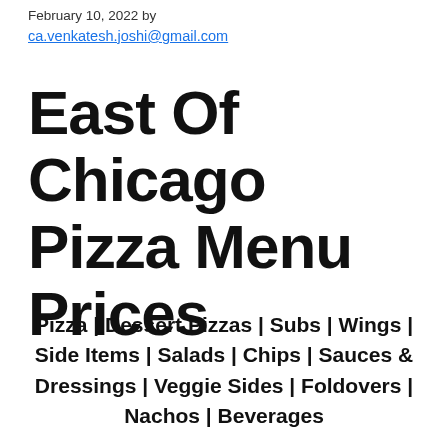February 10, 2022 by
ca.venkatesh.joshi@gmail.com
East Of Chicago Pizza Menu Prices
Pizza | Dessert Pizzas | Subs | Wings | Side Items | Salads | Chips | Sauces & Dressings | Veggie Sides | Foldovers | Nachos | Beverages